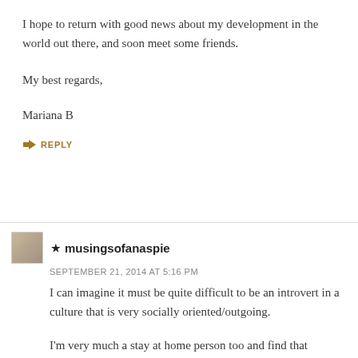I hope to return with good news about my development in the world out there, and soon meet some friends.
My best regards,
Mariana B
↳ REPLY
★ musingsofanaspie
SEPTEMBER 21, 2014 AT 5:16 PM
I can imagine it must be quite difficult to be an introvert in a culture that is very socially oriented/outgoing.
I'm very much a stay at home person too and find that